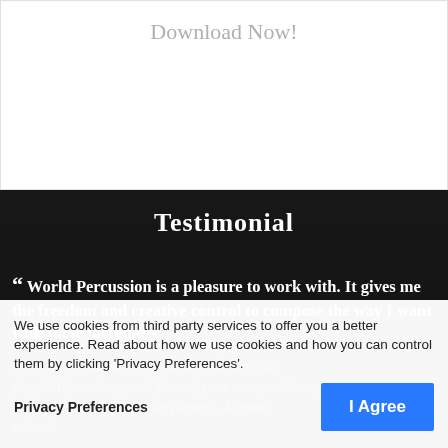Download Now!
Testimonial
" World Percussion is a pleasure to work with. It gives me the freedom and creative control to compose the way I want with these incredibly well recorded instruments. It's not just a matter of picking sounds in isolation, but also the playability and organic flow of your compositions, and mixes, as I would live players. A great value."
We use cookies from third party services to offer you a better experience. Read about how we use cookies and how you can control them by clicking 'Privacy Preferences'.
Privacy Preferences
I Agree